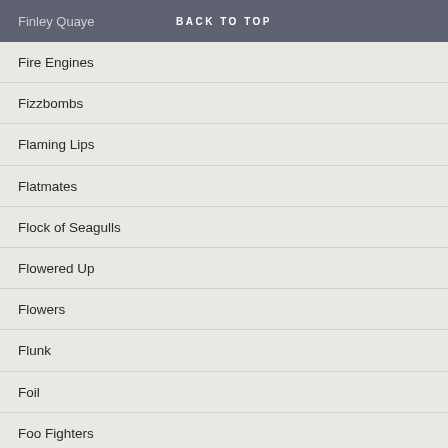BACK TO TOP | Finley Quaye
Fire Engines
Fizzbombs
Flaming Lips
Flatmates
Flock of Seagulls
Flowered Up
Flowers
Flunk
Foil
Foo Fighters
Football and Music
For Against